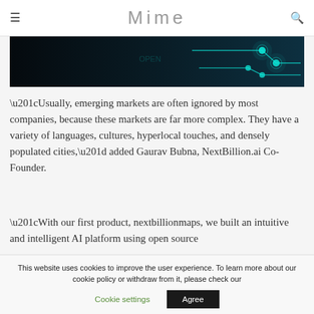☰  Mime  🔍
[Figure (photo): Technology/circuit board themed banner image with dark background and teal/blue circuit lines with glowing dots on the right side]
“Usually, emerging markets are often ignored by most companies, because these markets are far more complex. They have a variety of languages, cultures, hyperlocal touches, and densely populated cities,” added Gaurav Bubna, NextBillion.ai Co-Founder.
“With our first product, nextbillionmaps, we built an intuitive and intelligent AI platform using open source
This website uses cookies to improve the user experience. To learn more about our cookie policy or withdraw from it, please check our
Cookie settings    Agree